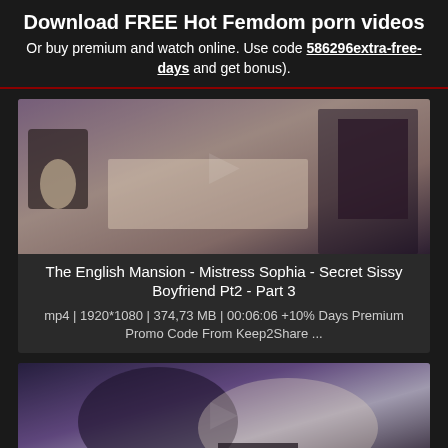Download FREE Hot Femdom porn videos
Or buy premium and watch online. Use code 586296extra-free-days and get bonus).
[Figure (photo): Video thumbnail showing adult content - The English Mansion scene]
The English Mansion - Mistress Sophia - Secret Sissy Boyfriend Pt2 - Part 3
mp4 | 1920*1080 | 374,73 MB | 00:06:06 +10% Days Premium Promo Code From Keep2Share ...
[Figure (photo): Video thumbnail showing adult content - second video scene]